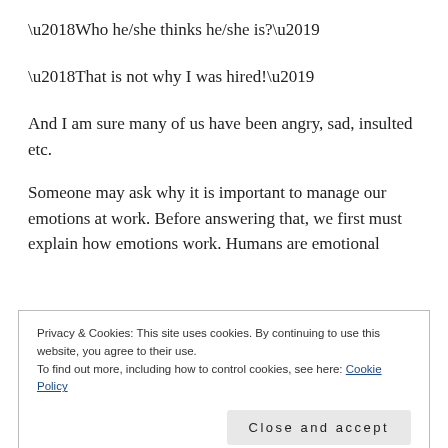‘Who he/she thinks he/she is?’
‘That is not why I was hired!’
And I am sure many of us have been angry, sad, insulted etc.
Someone may ask why it is important to manage our emotions at work. Before answering that, we first must explain how emotions work. Humans are emotional
Privacy & Cookies: This site uses cookies. By continuing to use this website, you agree to their use.
To find out more, including how to control cookies, see here: Cookie Policy
Close and accept
it can also be when we hear something we don’t like or